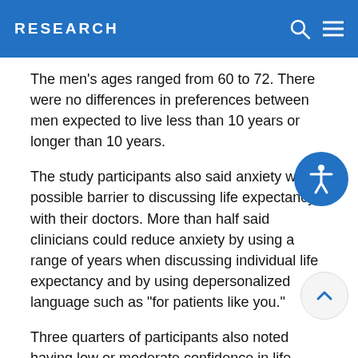RESEARCH
The men's ages ranged from 60 to 72. There were no differences in preferences between men expected to live less than 10 years or longer than 10 years.
The study participants also said anxiety was a possible barrier to discussing life expectancy with their doctors. More than half said clinicians could reduce anxiety by using a range of years when discussing individual life expectancy and by using depersonalized language such as "for patients like you."
Three quarters of participants also noted having low or moderate confidence in life expectancy estimates. However, they said physicians could improve confidence by explaining how life expectancy was calculated or mentioning health status, not just age, was considered in